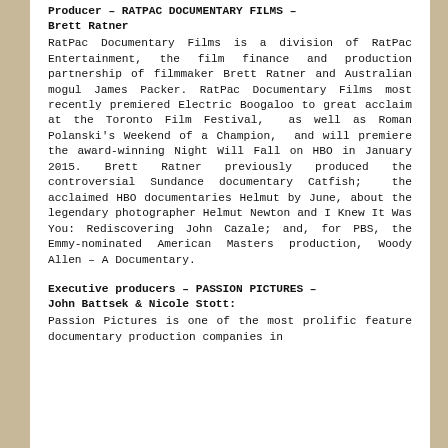Producer – RATPAC DOCUMENTARY FILMS – Brett Ratner
RatPac Documentary Films is a division of RatPac Entertainment, the film finance and production partnership of filmmaker Brett Ratner and Australian mogul James Packer. RatPac Documentary Films most recently premiered Electric Boogaloo to great acclaim at the Toronto Film Festival, as well as Roman Polanski's Weekend of a Champion, and will premiere the award-winning Night Will Fall on HBO in January 2015. Brett Ratner previously produced the controversial Sundance documentary Catfish; the acclaimed HBO documentaries Helmut by June, about the legendary photographer Helmut Newton and I Knew It Was You: Rediscovering John Cazale; and, for PBS, the Emmy-nominated American Masters production, Woody Allen – A Documentary.
Executive producers – PASSION PICTURES – John Battsek & Nicole Stott:
Passion Pictures is one of the most prolific feature documentary production companies in